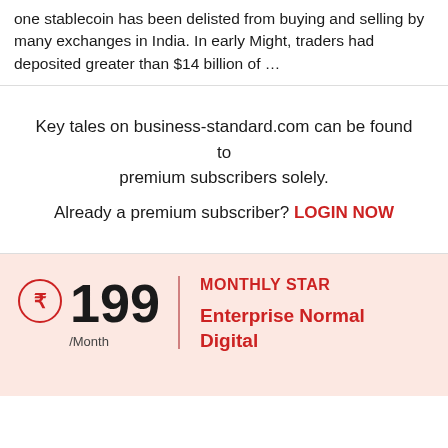one stablecoin has been delisted from buying and selling by many exchanges in India. In early Might, traders had deposited greater than $14 billion of …
Key tales on business-standard.com can be found to premium subscribers solely.

Already a premium subscriber? LOGIN NOW
MONTHLY STAR
₹199/Month
Enterprise Normal Digital